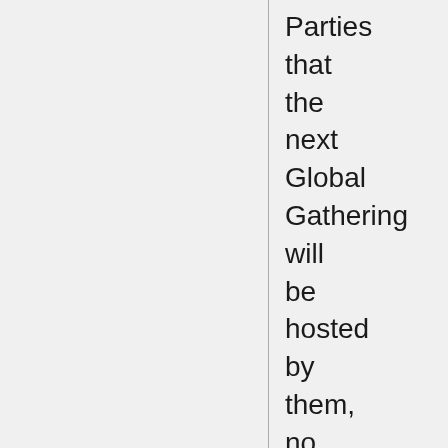Parties that the next Global Gathering will be hosted by them, no later than 2006.